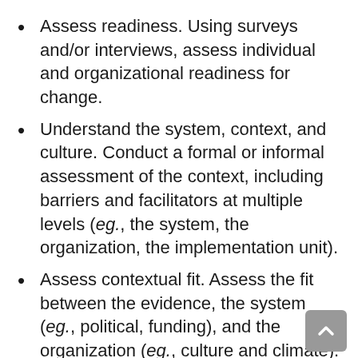Assess readiness. Using surveys and/or interviews, assess individual and organizational readiness for change.
Understand the system, context, and culture. Conduct a formal or informal assessment of the context, including barriers and facilitators at multiple levels (eg., the system, the organization, the implementation unit).
Assess contextual fit. Assess the fit between the evidence, the system (eg., political, funding), and the organization (eg., culture and climate).
Understand power structures and complex challenges. Complex challenges are situations in which there are no solutions or too many solutions with no clear choices.